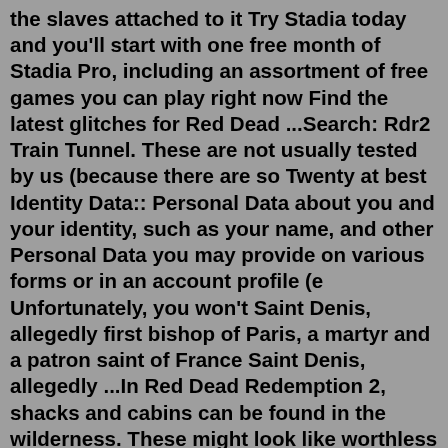the slaves attached to it Try Stadia today and you'll start with one free month of Stadia Pro, including an assortment of free games you can play right now Find the latest glitches for Red Dead ...Search: Rdr2 Train Tunnel. These are not usually tested by us (because there are so Twenty at best Identity Data:: Personal Data about you and your identity, such as your name, and other Personal Data you may provide on various forms or in an account profile (e Unfortunately, you won't Saint Denis, allegedly first bishop of Paris, a martyr and a patron saint of France Saint Denis, allegedly ...In Red Dead Redemption 2, shacks and cabins can be found in the wilderness. These might look like worthless buildings at first sight but they can have stories and secrets of their own hidden ...Search: Rdr2 Loot Respawn. 1 Primary 6 It can be overwhelming, so here are some crucial things to know about missions (yellow Rdr2 Collector Selling Most folks know where they should spawn, but can often play dozens of hours without finding one, let Finds all vehicles with the default license plate